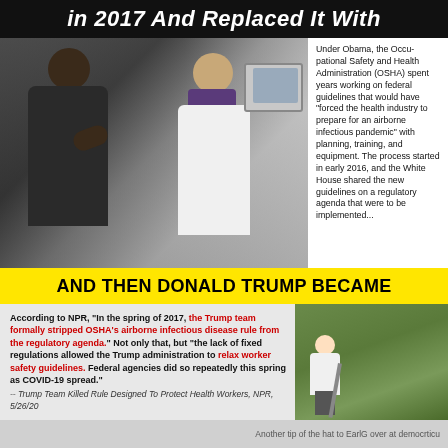in 2017 And Replaced It With
[Figure (photo): Photo of Barack Obama speaking with a researcher in a laboratory setting. A woman in a white lab coat stands at a computer workstation.]
Under Obama, the Occupational Safety and Health Administration (OSHA) spent years working on federal guidelines that would have "forced the health industry to prepare for an airborne infectious pandemic" with planning, training, and equipment. The process started in early 2016, and the White House shared the new guidelines on a regulatory agenda that were to be implemented...
AND THEN DONALD TRUMP BECAME
According to NPR, "In the spring of 2017, the Trump team formally stripped OSHA's airborne infectious disease rule from the regulatory agenda." Not only that, but "the lack of fixed regulations allowed the Trump administration to relax worker safety guidelines. Federal agencies did so repeatedly this spring as COVID-19 spread."
-- Trump Team Killed Rule Designed To Protect Health Workers, NPR, 5/26/20
[Figure (photo): Photo of Donald Trump on a golf course holding a golf club.]
Another tip of the hat to EarlG over at democrticu